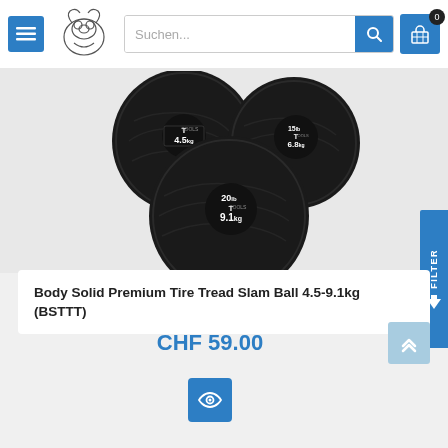[Figure (screenshot): E-commerce website header with menu button, animal logo, search bar with 'Suchen...' placeholder, search button, and shopping cart icon with badge showing 0]
[Figure (photo): Three black Body Solid Premium Tire Tread Slam Balls in different sizes: 4.5kg (10lb), 6.8kg (15lb), and 9.1kg (20lb), all with T-Tools branding logos on them]
Body Solid Premium Tire Tread Slam Ball 4.5-9.1kg (BSTTT)
CHF 59.00
[Figure (other): Blue eye/quick-view button icon]